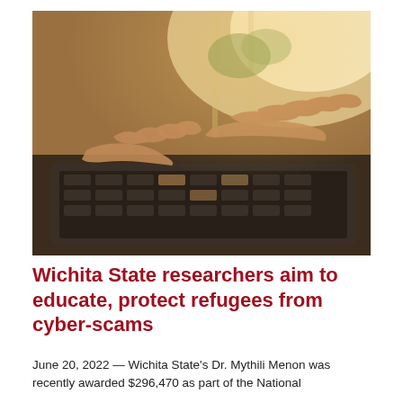[Figure (photo): Close-up photo of two hands typing on a laptop keyboard, with warm sunlight coming through a window in the background]
Wichita State researchers aim to educate, protect refugees from cyber-scams
June 20, 2022 — Wichita State's Dr. Mythili Menon was recently awarded $296,470 as part of the National